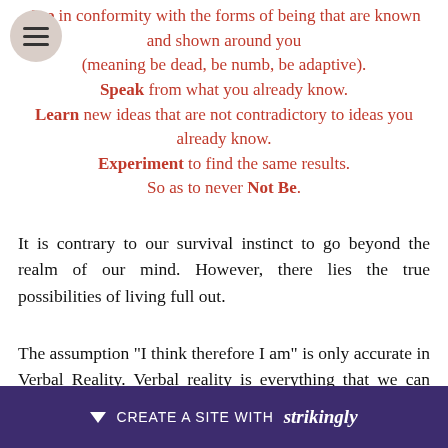Are in conformity with the forms of being that are known and shown around you (meaning be dead, be numb, be adaptive). Speak from what you already know. Learn new ideas that are not contradictory to ideas you already know. Experiment to find the same results. So as to never Not Be.
It is contrary to our survival instinct to go beyond the realm of our mind. However, there lies the true possibilities of living full out.
The assumption "I think therefore I am" is only accurate in Verbal Reality. Verbal reality is everything that we can understand and there can name. In verbal reality, when we nam[e] [and label] it, we know w[hat to do with] it. The ultima[te...]
[Figure (other): Strikingly website builder promotional banner bar at bottom of page with purple background, down arrow icon, and text 'CREATE A SITE WITH strikingly']